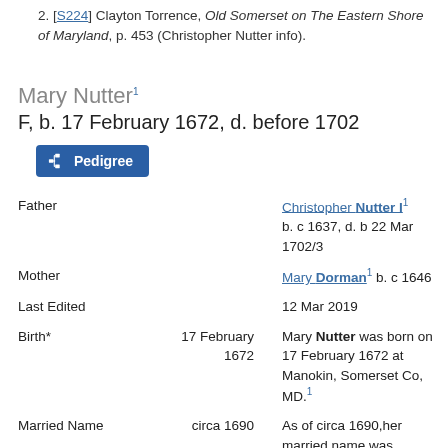2. [S224] Clayton Torrence, Old Somerset on The Eastern Shore of Maryland, p. 453 (Christopher Nutter info).
Mary Nutter¹ F, b. 17 February 1672, d. before 1702
| Field | Date | Details |
| --- | --- | --- |
| Father |  | Christopher Nutter I¹ b. c 1637, d. b 22 Mar 1702/3 |
| Mother |  | Mary Dorman¹ b. c 1646 |
| Last Edited |  | 12 Mar 2019 |
| Birth* | 17 February 1672 | Mary Nutter was born on 17 February 1672 at Manokin, Somerset Co, MD.¹ |
| Married Name | circa 1690 | As of circa 1690,her married name was Cordry.² |
| Marriage* | circa 1690 | She married John |